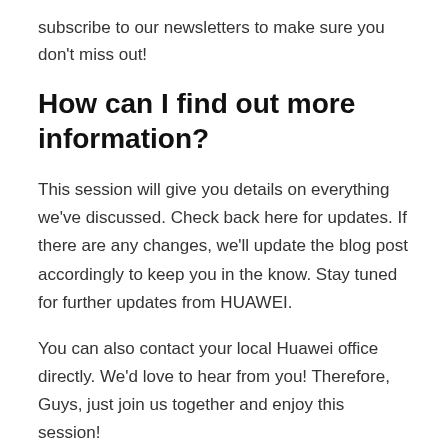subscribe to our newsletters to make sure you don't miss out!
How can I find out more information?
This session will give you details on everything we've discussed. Check back here for updates. If there are any changes, we'll update the blog post accordingly to keep you in the know. Stay tuned for further updates from HUAWEI.
You can also contact your local Huawei office directly. We'd love to hear from you! Therefore, Guys, just join us together and enjoy this session!